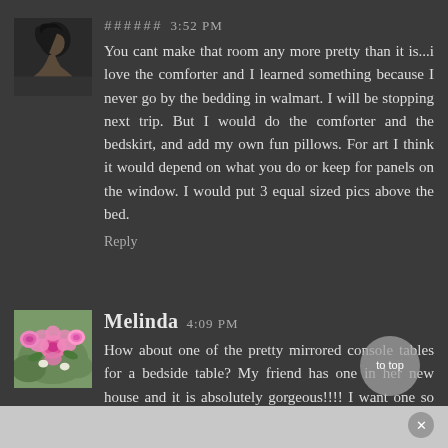[Figure (photo): Avatar/profile photo of a woman in side profile with dark hair]
###### 3:52 PM
You cant make that room any more pretty than it is...i love the comforter and I learned something because I never go by the bedding in walmart. I will be stopping next trip. But I would do the comforter and the bedskirt, and add my own fun pillows. For art I think it would depend on what you do or keep for panels on the window. I would put 3 equal sized pics above the bed.
Reply
[Figure (photo): Avatar/profile photo showing pink roses]
Melinda 4:09 PM
How about one of the pretty mirrored console tables for a bedside table? My friend has one in her new house and it is absolutely gorgeous!!!! I want one so bad.